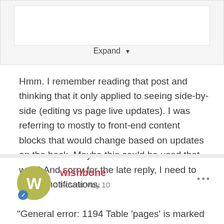[Figure (screenshot): Collapsed/expand box UI element with a white inner box and an Expand button with dropdown arrow]
Hmm. I remember reading that post and thinking that it only applied to seeing side-by-side (editing vs page live updates). I was referring to mostly to front-end content blocks that would change based on updates on the back. Maybe this could be used that way? And sorry for the late reply, I need to set up notifications.
wishbone
Posted May 10
"General error: 1194 Table 'pages' is marked as crashed and should be repaired"